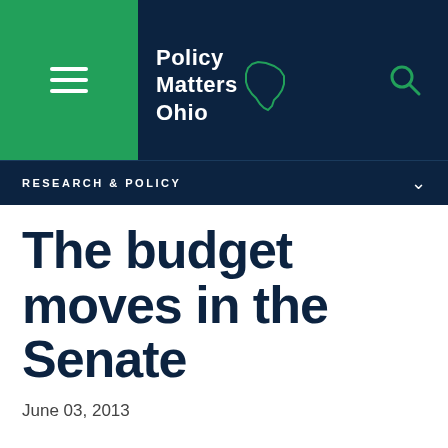[Figure (logo): Policy Matters Ohio logo with hamburger menu icon on green background and search icon, on dark navy navigation bar]
RESEARCH & POLICY
The budget moves in the Senate
June 03, 2013
An update on House Bill 59 as the Senate introduces its substitute bill and the General Assembly prepares to bring Ohio's two-year